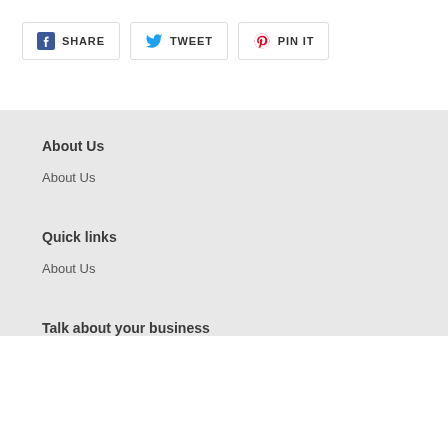SHARE
TWEET
PIN IT
About Us
About Us
Quick links
About Us
Talk about your business